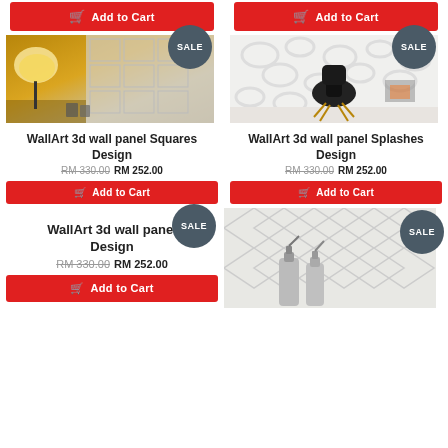[Figure (screenshot): E-commerce product listing page showing WallArt 3d wall panels with sale badges, prices, and Add to Cart buttons]
Add to Cart (top left button)
Add to Cart (top right button)
[Figure (photo): WallArt 3d wall panel Squares Design - room with lamp and wall panels]
[Figure (photo): WallArt 3d wall panel Splashes Design - black chair against white 3d wall]
WallArt 3d wall panel Squares Design
RM 330.00 RM 252.00
Add to Cart
WallArt 3d wall panel Splashes Design
RM 330.00 RM 252.00
Add to Cart
WallArt 3d wall panel Design
RM 330.00 RM 252.00
Add to Cart
[Figure (photo): WallArt 3d wall panel - soda bottles in front of diamond pattern wall]